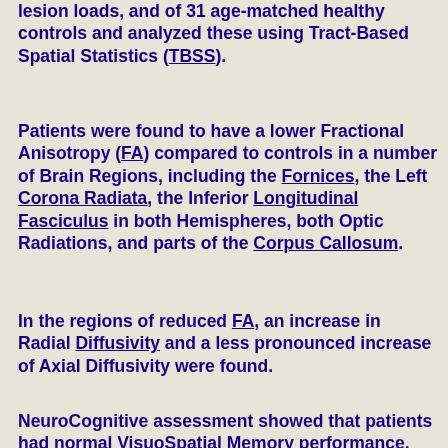lesion loads, and of 31 age-matched healthy controls and analyzed these using Tract-Based Spatial Statistics (TBSS).
Patients were found to have a lower Fractional Anisotropy (FA) compared to controls in a number of Brain Regions, including the Fornices, the Left Corona Radiata, the Inferior Longitudinal Fasciculus in both Hemispheres, both Optic Radiations, and parts of the Corpus Callosum.
In the regions of reduced FA, an increase in Radial Diffusivity and a less pronounced increase of Axial Diffusivity were found.
NeuroCognitive assessment showed that patients had normal VisuoSpatial Memory performance, just-normal